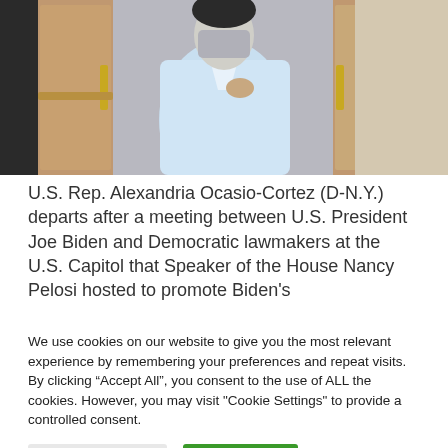[Figure (photo): Photo of U.S. Rep. Alexandria Ocasio-Cortez wearing a light blue jacket and face mask, departing through a doorway with wooden doors and brass handles.]
U.S. Rep. Alexandria Ocasio-Cortez (D-N.Y.) departs after a meeting between U.S. President Joe Biden and Democratic lawmakers at the U.S. Capitol that Speaker of the House Nancy Pelosi hosted to promote Biden's
We use cookies on our website to give you the most relevant experience by remembering your preferences and repeat visits. By clicking “Accept All”, you consent to the use of ALL the cookies. However, you may visit "Cookie Settings" to provide a controlled consent.